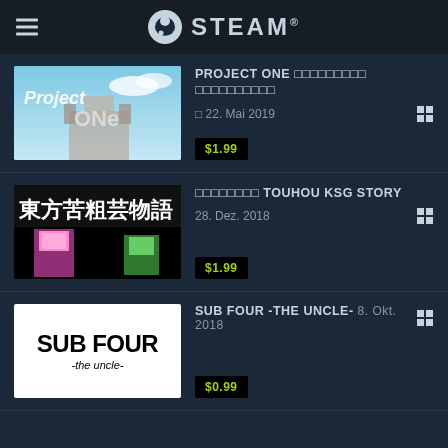STEAM
PROJECT ONE □□□□□□□□□ □□□□□□□□□□ □ 22. Mai 2019 $1.99
□□□□□□□□ TOUHOU KSG STORY 28. Dez. 2018 $1.99
SUB FOUR -THE UNCLE- 8. Okt. 2018 $0.99